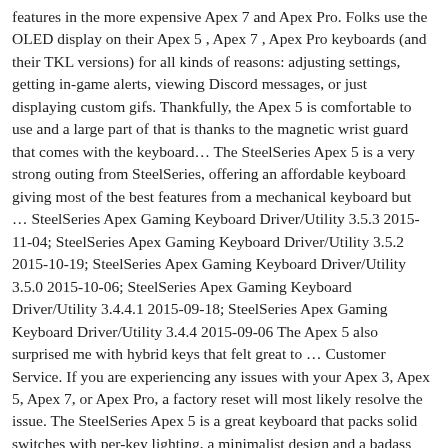features in the more expensive Apex 7 and Apex Pro. Folks use the OLED display on their Apex 5 , Apex 7 , Apex Pro keyboards (and their TKL versions) for all kinds of reasons: adjusting settings, getting in-game alerts, viewing Discord messages, or just displaying custom gifs. Thankfully, the Apex 5 is comfortable to use and a large part of that is thanks to the magnetic wrist guard that comes with the keyboard… The SteelSeries Apex 5 is a very strong outing from SteelSeries, offering an affordable keyboard giving most of the best features from a mechanical keyboard but … SteelSeries Apex Gaming Keyboard Driver/Utility 3.5.3 2015-11-04; SteelSeries Apex Gaming Keyboard Driver/Utility 3.5.2 2015-10-19; SteelSeries Apex Gaming Keyboard Driver/Utility 3.5.0 2015-10-06; SteelSeries Apex Gaming Keyboard Driver/Utility 3.4.4.1 2015-09-18; SteelSeries Apex Gaming Keyboard Driver/Utility 3.4.4 2015-09-06 The Apex 5 also surprised me with hybrid keys that felt great to … Customer Service. If you are experiencing any issues with your Apex 3, Apex 5, Apex 7, or Apex Pro, a factory reset will most likely resolve the issue. The SteelSeries Apex 5 is a great keyboard that packs solid switches with per-key lighting, a minimalist design and a badass